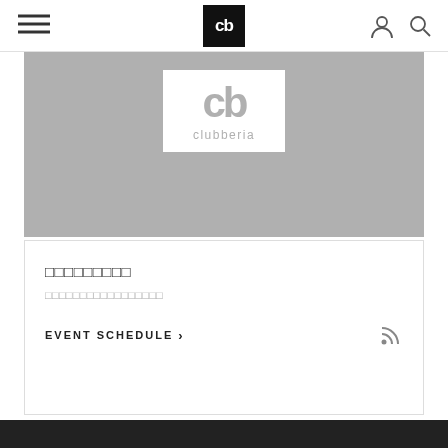clubberia navigation bar with hamburger menu, cb logo, user icon, search icon
[Figure (logo): Clubberia logo: large cb monogram in gray with word 'clubberia' below, on white background, over gray hero image area]
□□□□□□□□□
□□□□□□□□□□□□□□□□□
EVENT SCHEDULE >